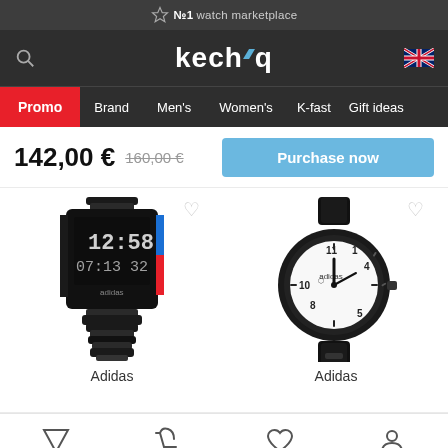№1 watch marketplace
kechiq
Promo | Brand | Men's | Women's | K-fast | Gift ideas
142,00 € 160,00 €
Purchase now
[Figure (photo): Adidas digital watch (black square, metal bracelet, showing 12:58 07:13 32 on display) with heart/wishlist icon]
Adidas
[Figure (photo): Adidas analog watch (black case, white dial, leather strap) with heart/wishlist icon]
Adidas
Bottom navigation icons: filters, cart, wishlist, account